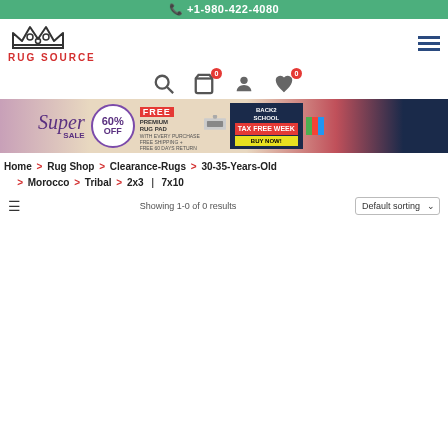+1-980-422-4080
[Figure (logo): Rug Source crown logo with text RUG SOURCE in red]
[Figure (infographic): Navigation icons: search, cart (0), user, wishlist (0)]
[Figure (infographic): Super Sale banner: 60% OFF, FREE PREMIUM RUG PAD, BACK2SCHOOL TAX FREE WEEK BUY NOW]
Home > Rug Shop > Clearance-Rugs > 30-35-Years-Old > Morocco > Tribal > 2x3 | 7x10
Showing 1-0 of 0 results   Default sorting